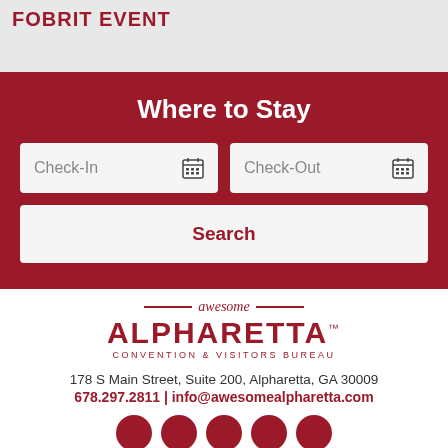FOBRIT EVENT
Where to Stay
[Figure (screenshot): Hotel search widget with Check-In and Check-Out date fields and a Search button on a dark red background]
[Figure (logo): Awesome Alpharetta Convention & Visitors Bureau logo]
178 S Main Street, Suite 200, Alpharetta, GA 30009
678.297.2811 | info@awesomealpharetta.com
[Figure (other): Social media icons row - five dark red circles]